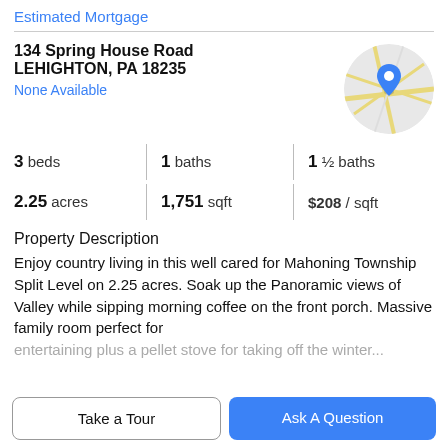Estimated Mortgage
134 Spring House Road
LEHIGHTON, PA 18235
None Available
[Figure (map): Circular map thumbnail showing street map with a blue location pin marker]
3 beds | 1 baths | 1 ½ baths
2.25 acres | 1,751 sqft | $208 / sqft
Property Description
Enjoy country living in this well cared for Mahoning Township Split Level on 2.25 acres. Soak up the Panoramic views of Valley while sipping morning coffee on the front porch. Massive family room perfect for entertaining plus a pellet stove for taking off the winter...